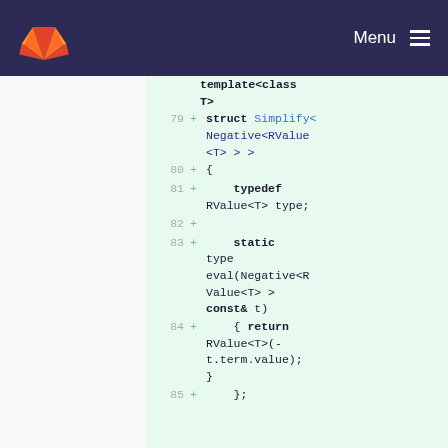GitLab — Menu
[Figure (screenshot): GitLab code diff view showing C++ template struct Simplify specialization for Negative<RValue<T>> with lines 79-85 highlighted in green addition color]
template<class T>
79 + struct Simplify<Negative<RValue<T> > >
80 + {
81 +     typedef RValue<T> type;
82 +
83 +     static type eval(Negative<RValue<T> > const& t)
84 +     { return RValue<T>(-t.term.value); }
85 +     };